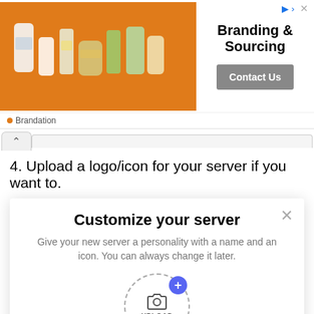[Figure (screenshot): Advertisement banner for Brandation showing product bottles on orange background with text 'Branding & Sourcing' and 'Contact Us' button]
4. Upload a logo/icon for your server if you want to.
[Figure (screenshot): Discord 'Customize your server' modal dialog with upload circle, server name field showing 'thediscordguide's server', and Community Guidelines link]
By creating a server, you agree to Discord's Community Guidelines.